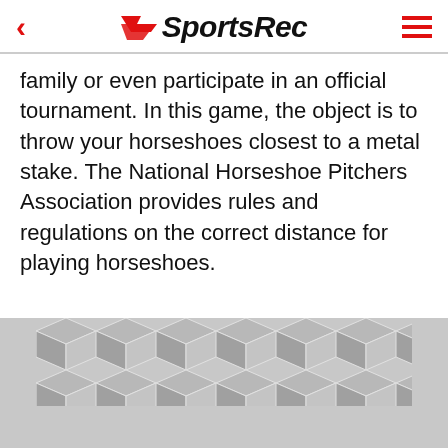SportsRec
family or even participate in an official tournament. In this game, the object is to throw your horseshoes closest to a metal stake. The National Horseshoe Pitchers Association provides rules and regulations on the correct distance for playing horseshoes.
[Figure (illustration): Geometric hexagonal/cube pattern in grey and white tones used as a decorative image placeholder]